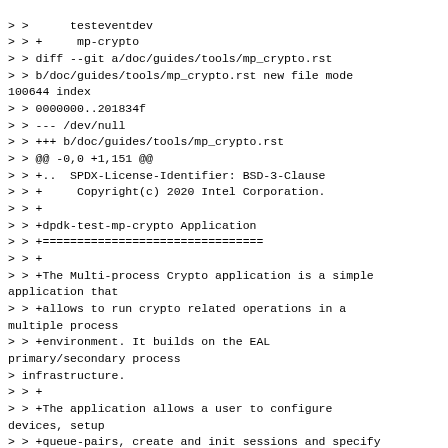> >      testeventdev
> > +     mp-crypto
> > diff --git a/doc/guides/tools/mp_crypto.rst
> > b/doc/guides/tools/mp_crypto.rst new file mode
100644 index
> > 0000000..201834f
> > --- /dev/null
> > +++ b/doc/guides/tools/mp_crypto.rst
> > @@ -0,0 +1,151 @@
> > +..  SPDX-License-Identifier: BSD-3-Clause
> > +     Copyright(c) 2020 Intel Corporation.
> > +
> > +dpdk-test-mp-crypto Application
> > +================================
> > +
> > +The Multi-process Crypto application is a simple
application that
> > +allows to run crypto related operations in a
multiple process
> > +environment. It builds on the EAL
primary/secondary process
> infrastructure.
> > +
> > +The application allows a user to configure
devices, setup
> > +queue-pairs, create and init sessions and specify
data-path flow
> > +(enqueue/dequeue) in different processes. The app
can help to check
> > +if the PMD behaves correctly in scenarios like the
following: